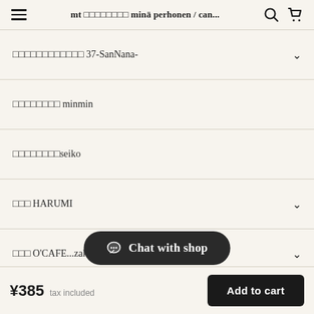mt □□□□□□□□ minä perhonen / can...
□□□□□□□□□□□□ 37-SanNana-
□□□□□□□□ minmin
□□□□□□□□seiko
□□□ HARUMI
□□□ O'CAFE...zakka.
□□□□□□□□ □□□□□□□□□□□
□□□□□□□□□□□□ komachi_no☆
Chat with shop
¥385 tax included  Add to cart